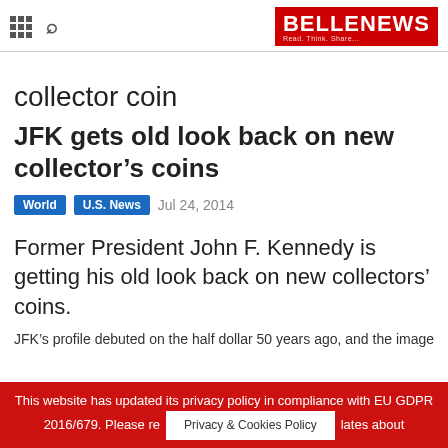BELLENEWS Read. Think. Share...
collector coin
JFK gets old look back on new collector’s coins
World  U.S. News  Jul 24, 2014
Former President John F. Kennedy is getting his old look back on new collectors’ coins.
JFK’s profile debuted on the half dollar 50 years ago, and the image
This website has updated its privacy policy in compliance with EU GDPR 2016/679. Please re Privacy & Cookies Policy lates about